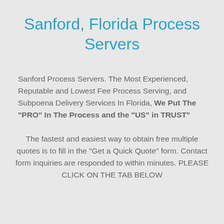Sanford, Florida Process Servers
Sanford Process Servers. The Most Experienced, Reputable and Lowest Fee Process Serving, and Subpoena Delivery Services In Florida, We Put The "PRO" In The Process and the "US" in TRUST"
The fastest and easiest way to obtain free multiple quotes is to fill in the "Get a Quick Quote" form. Contact form inquiries are responded to within minutes. PLEASE CLICK ON THE TAB BELOW